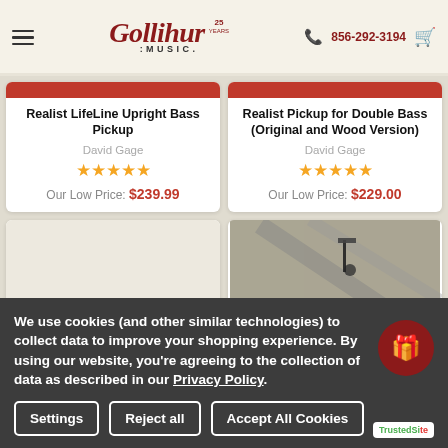Gollihur Music — 856-292-3194
Realist LifeLine Upright Bass Pickup
David Gage
★★★★★
Our Low Price: $239.99
Realist Pickup for Double Bass (Original and Wood Version)
David Gage
★★★★★
Our Low Price: $229.00
We use cookies (and other similar technologies) to collect data to improve your shopping experience. By using our website, you're agreeing to the collection of data as described in our Privacy Policy.
Settings
Reject all
Accept All Cookies